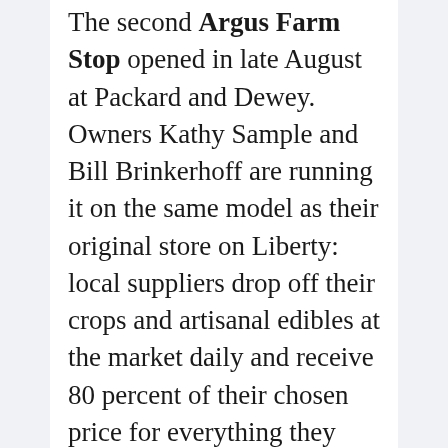The second Argus Farm Stop opened in late August at Packard and Dewey. Owners Kathy Sample and Bill Brinkerhoff are running it on the same model as their original store on Liberty: local suppliers drop off their crops and artisanal edibles at the market daily and receive 80 percent of their chosen price for everything they sell. Though the Packard stop doesn't have the signature greenhouse seating area of their original spot, it does have a coffee bar and seating in a similar style.